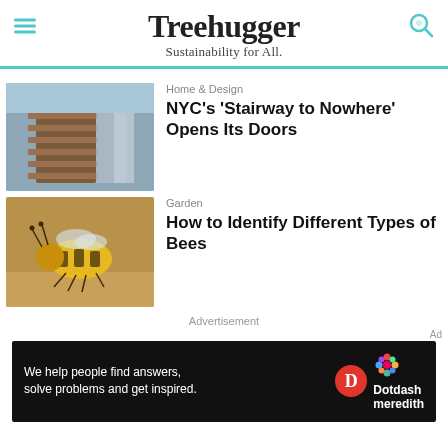Treehugger — Sustainability for All.
Home & Design
NYC's 'Stairway to Nowhere' Opens Its Doors
Garden
How to Identify Different Types of Bees
Advertisement
[Figure (screenshot): Dotdash Meredith advertisement banner: 'We help people find answers, solve problems and get inspired.']